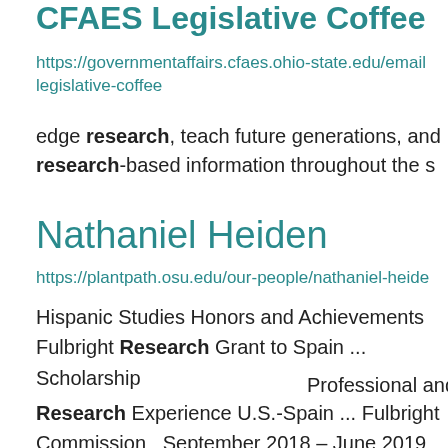CFAES Legislative Coffee
https://governmentaffairs.cfaes.ohio-state.edu/email legislative-coffee
edge research, teach future generations, and research-based information throughout the s
Nathaniel Heiden
https://plantpath.osu.edu/our-people/nathaniel-heide
Hispanic Studies Honors and Achievements Fulbright Research Grant to Spain ... Scholarship
Professional and
Research Experience U.S.-Spain ... Fulbright Commission  September 2018 – June 2019 Predoctoral Researcher Levo International,